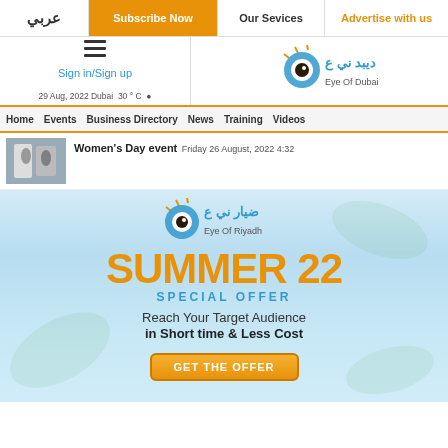عربي | Subscribe Now | Our Services | Advertise with us
[Figure (logo): Eye of Dubai logo with Arabic text and sun/eye graphic]
Sign in/Sign up
29 Aug, 2022 Dubai  30 ° C
Home  Events  Business Directory  News  Training  Videos
Women's Day event
Friday 26 August, 2022 4:32
[Figure (infographic): Eye of Riyadh advertisement banner with SUMMER 22 SPECIAL OFFER text, Reach Your Target Audience in Short time & Less Cost, and GET THE OFFER button]